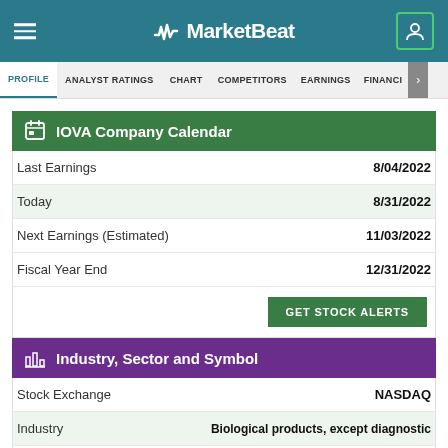MarketBeat
PROFILE | ANALYST RATINGS | CHART | COMPETITORS | EARNINGS | FINANCIALS
IOVA Company Calendar
|  |  |
| --- | --- |
| Last Earnings | 8/04/2022 |
| Today | 8/31/2022 |
| Next Earnings (Estimated) | 11/03/2022 |
| Fiscal Year End | 12/31/2022 |
GET STOCK ALERTS
Industry, Sector and Symbol
|  |  |
| --- | --- |
| Stock Exchange | NASDAQ |
| Industry | Biological products, except diagnostic |
| Sub-Industry | N/A |
| Sector | Medical |